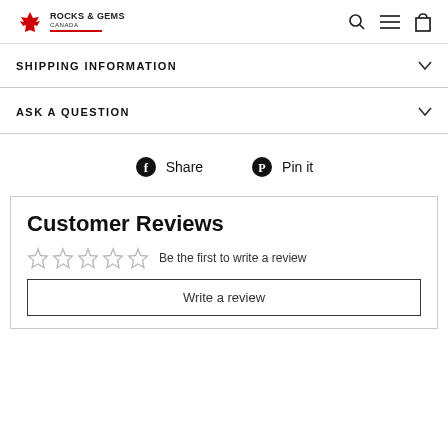ROCKS & GEMS CANADA
SHIPPING INFORMATION
ASK A QUESTION
Share  Pin it
Customer Reviews
☆☆☆☆☆  Be the first to write a review
Write a review